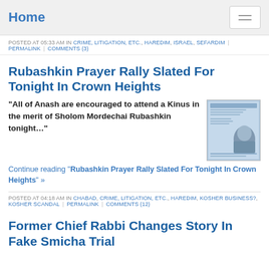Home
POSTED AT 05:33 AM IN CRIME, LITIGATION, ETC., HAREDIM, ISRAEL, SEFARDIM | PERMALINK | COMMENTS (3)
Rubashkin Prayer Rally Slated For Tonight In Crown Heights
"All of Anash are encouraged to attend a Kinus in the merit of Sholom Mordechai Rubashkin tonight…"
[Figure (photo): Small newspaper/flyer image related to Rubashkin]
Continue reading "Rubashkin Prayer Rally Slated For Tonight In Crown Heights" »
POSTED AT 04:18 AM IN CHABAD, CRIME, LITIGATION, ETC., HAREDIM, KOSHER BUSINESS?, KOSHER SCANDAL | PERMALINK | COMMENTS (12)
Former Chief Rabbi Changes Story In Fake Smicha Trial